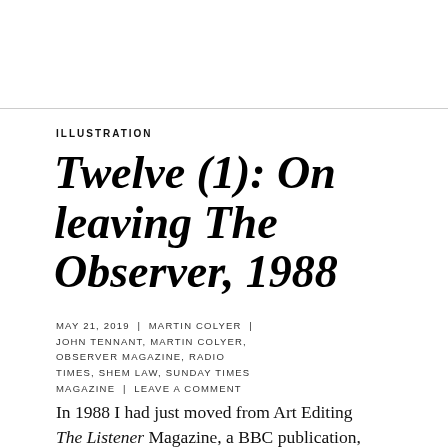ILLUSTRATION
Twelve (1): On leaving The Observer, 1988
MAY 21, 2019 | MARTIN COLYER | JOHN TENNANT, MARTIN COLYER, OBSERVER MAGAZINE, RADIO TIMES, SHEM LAW, SUNDAY TIMES MAGAZINE | LEAVE A COMMENT
In 1988 I had just moved from Art Editing The Listener Magazine, a BBC publication, with aut...